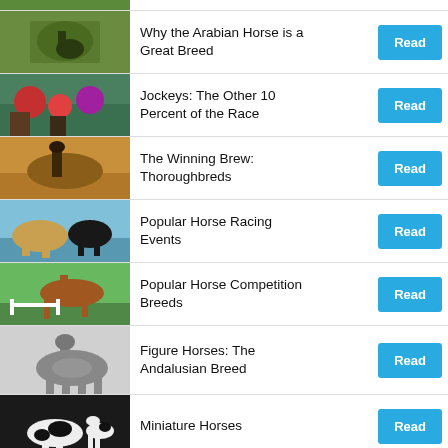(cropped image row top)
Why the Arabian Horse is a Great Breed
Jockeys: The Other 10 Percent of the Race
The Winning Brew: Thoroughbreds
Popular Horse Racing Events
Popular Horse Competition Breeds
Figure Horses: The Andalusian Breed
Miniature Horses
The Amazing Mounts of (cropped)